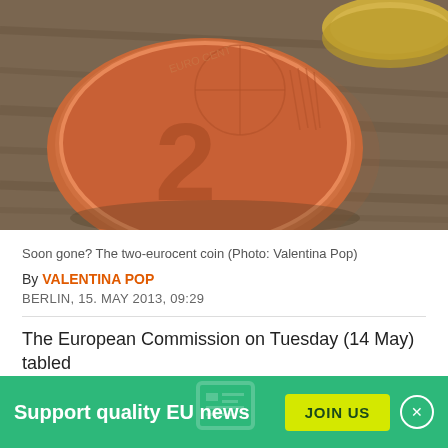[Figure (photo): Close-up photo of a two-euro cent coin on a wooden surface, with another coin partially visible in the upper right corner]
Soon gone? The two-eurocent coin (Photo: Valentina Pop)
By VALENTINA POP
BERLIN, 15. MAY 2013, 09:29
The European Commission on Tuesday (14 May) tabled
Support quality EU news
JOIN US